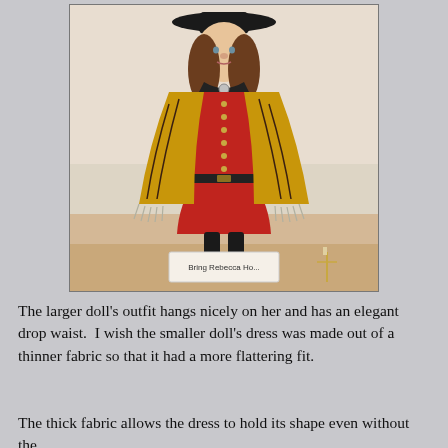[Figure (photo): A doll wearing a red drop-waist dress with gold buttons, a patterned shawl/wrap with fringe, black hat, black collar, black leggings, and cream boots. A small sign at the base reads 'Bring Rebecca Ho...' The doll stands on a display platform in front of a light background.]
The larger doll's outfit hangs nicely on her and has an elegant drop waist.  I wish the smaller doll's dress was made out of a thinner fabric so that it had a more flattering fit.
The thick fabric allows the dress to hold its shape even without the